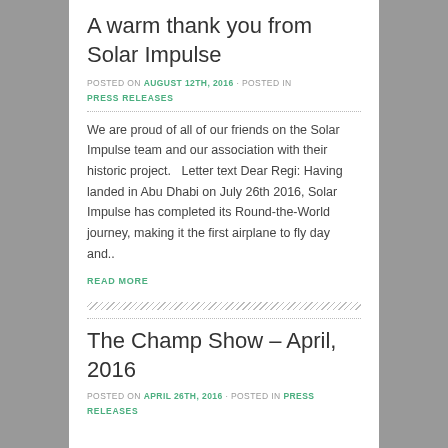A warm thank you from Solar Impulse
POSTED ON AUGUST 12TH, 2016 · POSTED IN
PRESS RELEASES
We are proud of all of our friends on the Solar Impulse team and our association with their historic project.   Letter text Dear Regi: Having landed in Abu Dhabi on July 26th 2016, Solar Impulse has completed its Round-the-World journey, making it the first airplane to fly day and..
READ MORE
The Champ Show – April, 2016
POSTED ON APRIL 26TH, 2016 · POSTED IN PRESS RELEASES